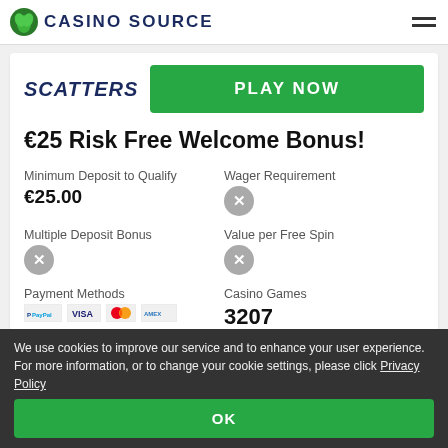CASINO SOURCE
[Figure (logo): Scatters casino logo with green leaf icon and PLAY NOW button]
€25 Risk Free Welcome Bonus!
Minimum Deposit to Qualify
€25.00
Wager Requirement
×
Multiple Deposit Bonus
×
Value per Free Spin
×
Payment Methods
PayPal, Visa, Mastercard, American Express
Casino Games
3207
Mobile Games
Live Games
We use cookies to improve our service and to enhance your user experience. For more information, or to change your cookie settings, please click Privacy Policy